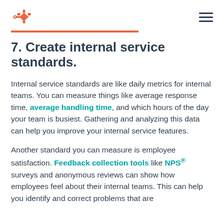HubSpot logo and navigation
7. Create internal service standards.
Internal service standards are like daily metrics for internal teams. You can measure things like average response time, average handling time, and which hours of the day your team is busiest. Gathering and analyzing this data can help you improve your internal service features.
Another standard you can measure is employee satisfaction. Feedback collection tools like NPS® surveys and anonymous reviews can show how employees feel about their internal teams. This can help you identify and correct problems that are...